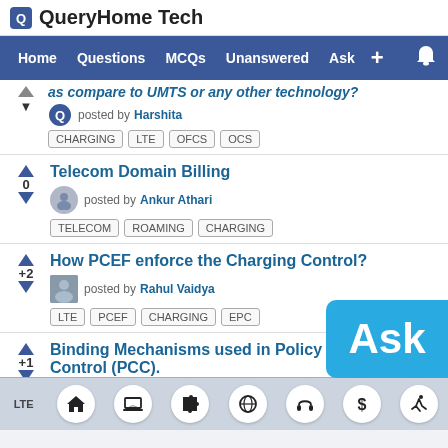QueryHome Tech
Home  Questions  MCQs  Unanswered  Ask  +
as compare to UMTS or any other technology?  posted by Harshita  Tags: CHARGING, LTE, OFCS, OCS
Telecom Domain Billing
posted by Ankur Athari  Tags: TELECOM, ROAMING, CHARGING
How PCEF enforce the Charging Control?
+2  posted by Rahul Vaidya  Tags: LTE, PCEF, CHARGING, EPC
Binding Mechanisms used in Policy and Charging Control (PCC).
+1  posted by Tapesh Kulkarni
LTE  Home  Laptop  Puzzle  Globe  Headphone  Dollar  Running